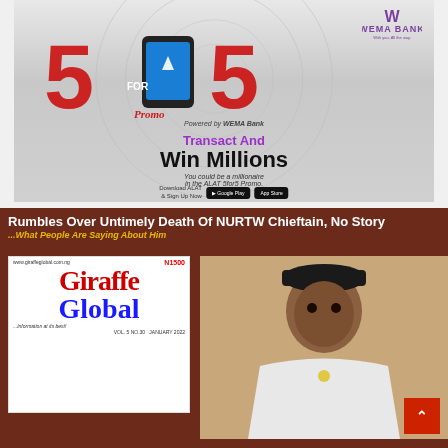[Figure (infographic): Wema Bank ALAT 5for5 Promo advertisement. Large red 5 FOR 5 text with mobile phone graphic. Powered by WEMA Bank branding. Text: Transact And Win Millions. You could be a millionaire in the ALAT 5for5 Promo. Download ALAT & Sign Up Now with Google Play and App Store buttons.]
Rumbles Over Untimely Death Of NURTW Chieftain, No Story
...What People Are Saying About Him
[Figure (photo): Giraffe Global magazine cover, VOL. 5 NO.30 JANUARY 2022, N1500, www.giraffeglobal.com.ng, tagline: ...Information at its best!]
[Figure (photo): Portrait photo of a man wearing white traditional attire and black cap, appearing to be the NURTW chieftain referenced in the headline]